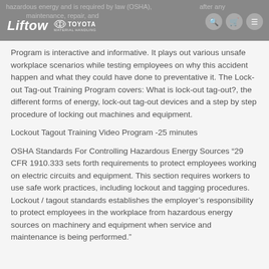Liftow | Toyota Material Handling
hazardous energy and is required by law (OSHA), after any piece of equipment. The Lock-out Tag-out Training Video Program is interactive and informative. It plays out various unsafe workplace scenarios while testing employees on why this accident happen and what they could have done to preventative it. The Lock-out Tag-out Training Program covers: What is lock-out tag-out?, the different forms of energy, lock-out tag-out devices and a step by step procedure of locking out machines and equipment.
Lockout Tagout Training Video Program -25 minutes
OSHA Standards For Controlling Hazardous Energy Sources “29 CFR 1910.333 sets forth requirements to protect employees working on electric circuits and equipment. This section requires workers to use safe work practices, including lockout and tagging procedures. Lockout / tagout standards establishes the employer's responsibility to protect employees in the workplace from hazardous energy sources on machinery and equipment when service and maintenance is being performed.”